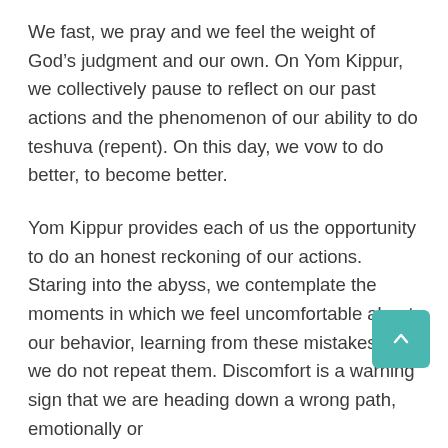We fast, we pray and we feel the weight of God's judgment and our own. On Yom Kippur, we collectively pause to reflect on our past actions and the phenomenon of our ability to do teshuva (repent). On this day, we vow to do better, to become better.
Yom Kippur provides each of us the opportunity to do an honest reckoning of our actions. Staring into the abyss, we contemplate the moments in which we feel uncomfortable about our behavior, learning from these mistakes so we do not repeat them. Discomfort is a warning sign that we are heading down a wrong path, emotionally or